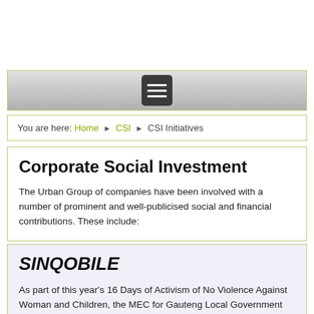You are here: Home ▶ CSI ▶ CSI Initiatives
Corporate Social Investment
The Urban Group of companies have been involved with a number of prominent and well-publicised social and financial contributions. These include:
SINQOBILE
As part of this year's 16 Days of Activism of No Violence Against Woman and Children, the MEC for Gauteng Local Government and Housing, Humphrey Mmemezi, approached us to assist with support for 2 orphaned sisters, Olinda and Edna Mentor in Mogale City. Jean-Luc Limacher arranges our on-going charitable contribution which includes a bursary for Olinda in Grade 12 and Edna in Grade 4. Our assistance also included